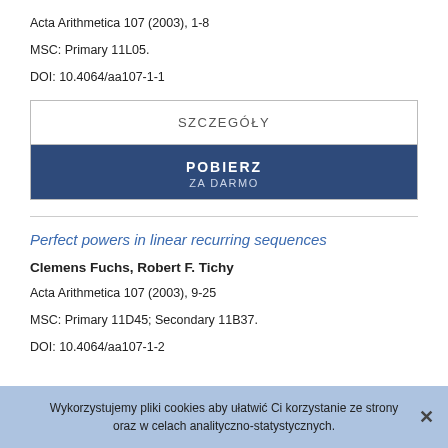Acta Arithmetica 107 (2003), 1-8
MSC: Primary 11L05.
DOI: 10.4064/aa107-1-1
[Figure (other): Two buttons: SZCZEGÓŁY (details) and POBIERZ ZA DARMO (download for free)]
Perfect powers in linear recurring sequences
Clemens Fuchs, Robert F. Tichy
Acta Arithmetica 107 (2003), 9-25
MSC: Primary 11D45; Secondary 11B37.
DOI: 10.4064/aa107-1-2
Wykorzystujemy pliki cookies aby ułatwić Ci korzystanie ze strony oraz w celach analityczno-statystycznych.